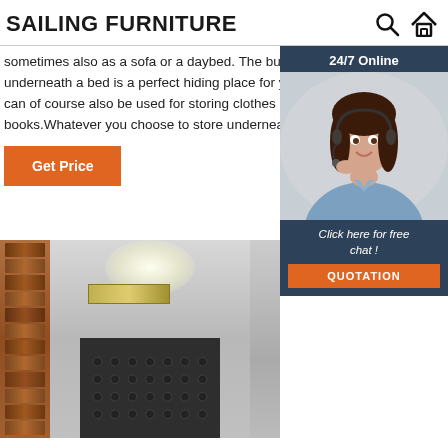SAILING FURNITURE
sometimes also as a sofa or a daybed. The built-in storage underneath a bed is a perfect hiding place for your bed linen, but it can of course also be used for storing clothes or hiding your comic books.Whatever you choose to store underneath or w…
Get Price
[Figure (photo): Customer service representative with headset, 24/7 Online chat widget with QUOTATION button]
[Figure (photo): Furniture showroom with wooden slat panel, upholstered dark tufted headboard, and decorative lamp/shelf]